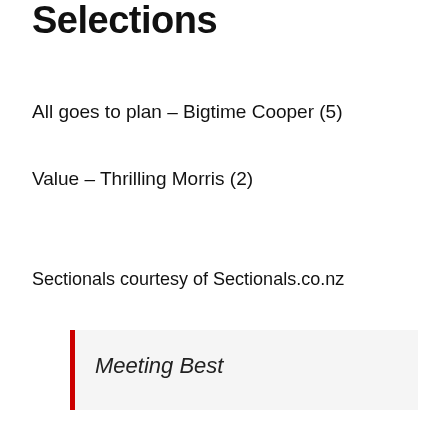Selections
All goes to plan – Bigtime Cooper (5)
Value – Thrilling Morris (2)
Sectionals courtesy of Sectionals.co.nz
Meeting Best